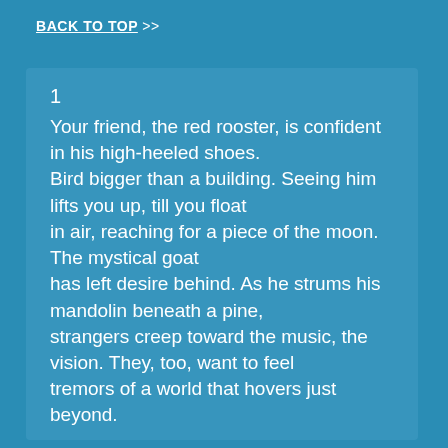BACK TO TOP >>
1

Your friend, the red rooster, is confident in his high-heeled shoes.
Bird bigger than a building. Seeing him lifts you up, till you float
in air, reaching for a piece of the moon.
The mystical goat
has left desire behind. As he strums his mandolin beneath a pine,
strangers creep toward the music, the vision. They, too, want to feel
tremors of a world that hovers just beyond.